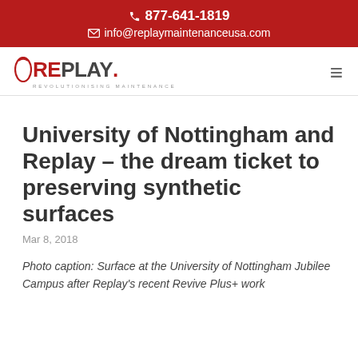877-641-1819
info@replaymaintenanceusa.com
[Figure (logo): REPLAY logo with arc symbol and tagline REVOLUTIONISING MAINTENANCE]
University of Nottingham and Replay – the dream ticket to preserving synthetic surfaces
Mar 8, 2018
Photo caption: Surface at the University of Nottingham Jubilee Campus after Replay's recent Revive Plus+ work